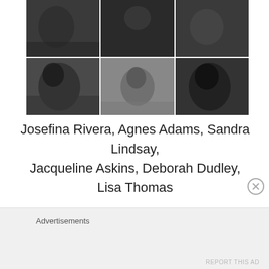[Figure (photo): A 2x3 grid of black and white portrait photographs showing six individuals: Josefina Rivera, Agnes Adams, Sandra Lindsay, Jacqueline Askins, Deborah Dudley, Lisa Thomas]
Josefina Rivera, Agnes Adams, Sandra Lindsay, Jacqueline Askins, Deborah Dudley, Lisa Thomas
Advertisements
REPORT THIS AD